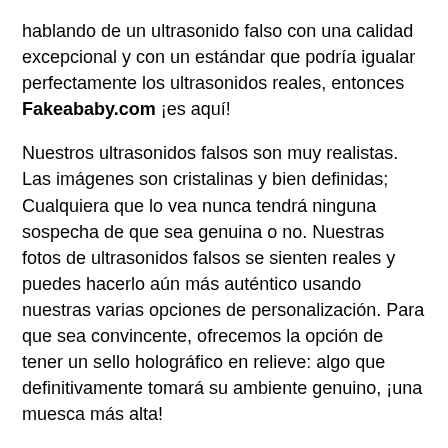hablando de un ultrasonido falso con una calidad excepcional y con un estándar que podría igualar perfectamente los ultrasonidos reales, entonces Fakeababy.com ¡es aquí!
Nuestros ultrasonidos falsos son muy realistas. Las imágenes son cristalinas y bien definidas; Cualquiera que lo vea nunca tendrá ninguna sospecha de que sea genuina o no. Nuestras fotos de ultrasonidos falsos se sienten reales y puedes hacerlo aún más auténtico usando nuestras varias opciones de personalización. Para que sea convincente, ofrecemos la opción de tener un sello holográfico en relieve: algo que definitivamente tomará su ambiente genuino, ¡una muesca más alta!
Haga que las jaitas de sus familiares caigan. Haz que tus amigos se ríen. Haz que tu esposo o novio finalmente se sorprendió. Hazte absolutamente divertido. Con nuestro fotos de ultrasonido falso ¡Y los sonogramas